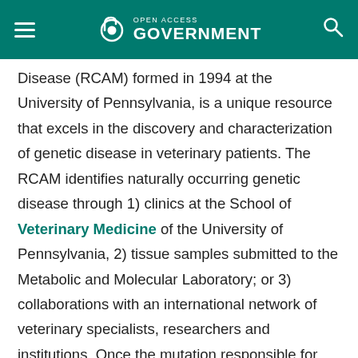Open Access Government
Disease (RCAM) formed in 1994 at the University of Pennsylvania, is a unique resource that excels in the discovery and characterization of genetic disease in veterinary patients. The RCAM identifies naturally occurring genetic disease through 1) clinics at the School of Veterinary Medicine of the University of Pennsylvania, 2) tissue samples submitted to the Metabolic and Molecular Laboratory; or 3) collaborations with an international network of veterinary specialists, researchers and institutions. Once the mutation responsible for the disease is identified, the next step is to develop tests for carrier and affected animals and to recommend informed breeding to remove disease from the animal population and to preserve gene pools.